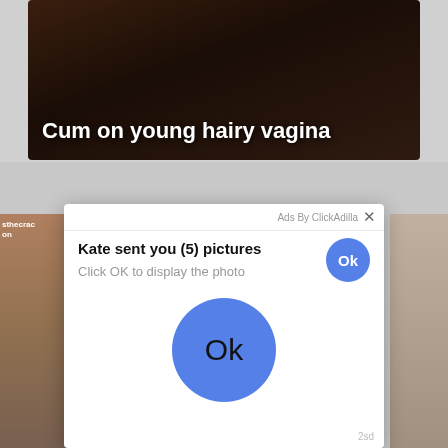[Figure (screenshot): Dark-toned photographic banner area with overlay text reading 'Cum on young hairy vagina' in bold white text at the bottom left.]
[Figure (screenshot): A browser advertisement popup overlay. Header shows 'Ads By ClickAdilla' with an X close button. Content reads 'Kate sent you (5) pictures' in bold with a small blue Ok circle button on the right, subtitle 'Click OK to display the photo' in gray, and a large blue circle Ok button centered below. Footer shows '2sd' in gray at bottom right. Behind the popup are partial photographic images on left and right sides.]